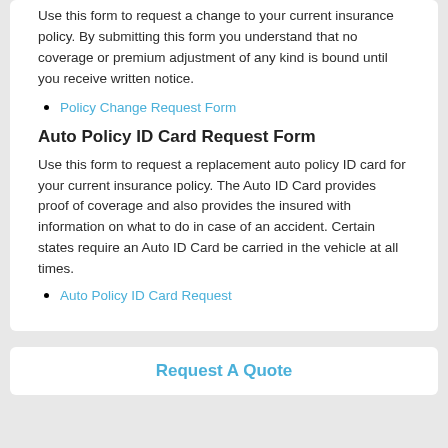Use this form to request a change to your current insurance policy. By submitting this form you understand that no coverage or premium adjustment of any kind is bound until you receive written notice.
Policy Change Request Form
Auto Policy ID Card Request Form
Use this form to request a replacement auto policy ID card for your current insurance policy. The Auto ID Card provides proof of coverage and also provides the insured with information on what to do in case of an accident. Certain states require an Auto ID Card be carried in the vehicle at all times.
Auto Policy ID Card Request
Request A Quote